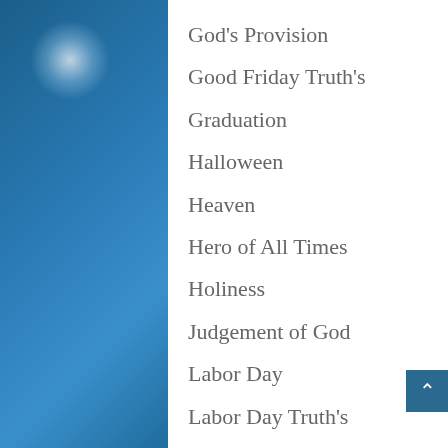God's Provision
Good Friday Truth's
Graduation
Halloween
Heaven
Hero of All Times
Holiness
Judgement of God
Labor Day
Labor Day Truth's
Lessons From The Horse Business
Love